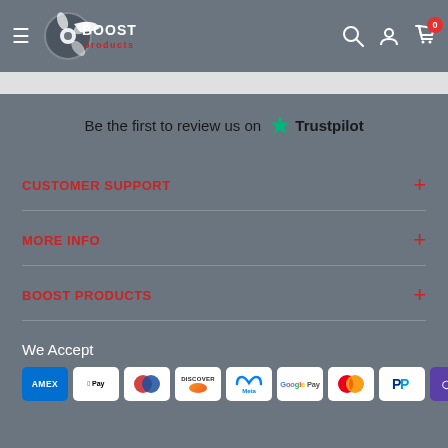[Figure (logo): Boost Products logo — turbo wheel graphic with 'BOOST' in white and 'products' in red text]
Be the first to review us on ✦ Trustpilot
CUSTOMER SUPPORT
MORE INFO
BOOST PRODUCTS
We Accept
[Figure (other): Payment method icons: American Express, Apple Pay, Diners Club, Discover, Meta Pay, Google Pay, Mastercard, PayPal, Samsung Pay]